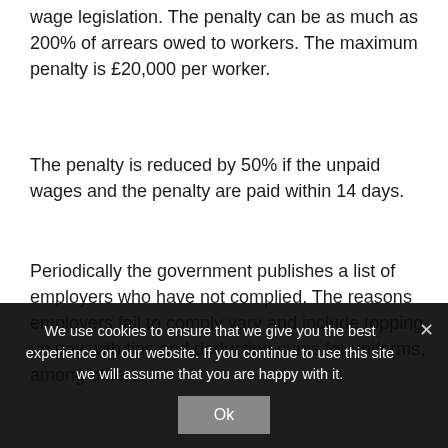wage legislation. The penalty can be as much as 200% of arrears owed to workers. The maximum penalty is £20,000 per worker.
The penalty is reduced by 50% if the unpaid wages and the penalty are paid within 14 days.
Periodically the government publishes a list of employers who have not complied. The reasons employers fail to comply vary and include topping up pay with tips and deducting sums for uniforms, among others.
We use cookies to ensure that we give you the best experience on our website. If you continue to use this site we will assume that you are happy with it.